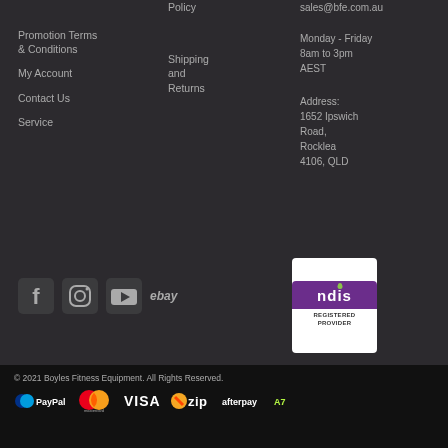Policy
Promotion Terms & Conditions
Shipping and Returns
sales@bfe.com.au
My Account
Monday - Friday 8am to 3pm AEST
Contact Us
Service
Address: 1652 Ipswich Road, Rocklea 4106, QLD
[Figure (logo): Social media icons: Facebook, Instagram, YouTube, eBay]
[Figure (logo): NDIS Registered Provider badge with purple background]
© 2021 Boyles Fitness Equipment. All Rights Reserved.
[Figure (logo): Payment method logos: PayPal, Mastercard, Visa, Zip, Afterpay]